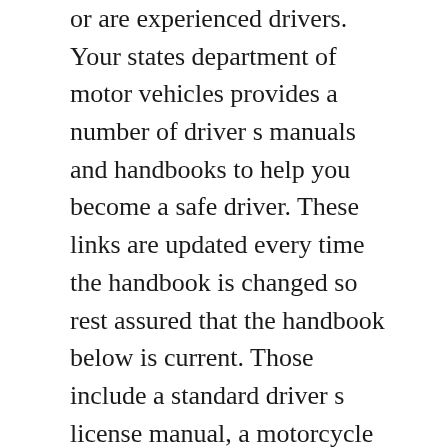or are experienced drivers. Your states department of motor vehicles provides a number of driver s manuals and handbooks to help you become a safe driver. These links are updated every time the handbook is changed so rest assured that the handbook below is current. Those include a standard driver s license manual, a motorcycle license manual and a cdl commercial driver s license manual. Studying the ohio driver s manual and taking our free practice permit tests is the best. This driver instructors manual provides a structured and detailed learner driver